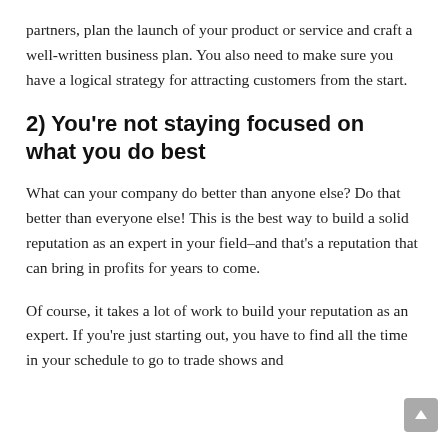partners, plan the launch of your product or service and craft a well-written business plan. You also need to make sure you have a logical strategy for attracting customers from the start.
2) You're not staying focused on what you do best
What can your company do better than anyone else? Do that better than everyone else! This is the best way to build a solid reputation as an expert in your field–and that's a reputation that can bring in profits for years to come.
Of course, it takes a lot of work to build your reputation as an expert. If you're just starting out, you have to find all the time in your schedule to go to trade shows and